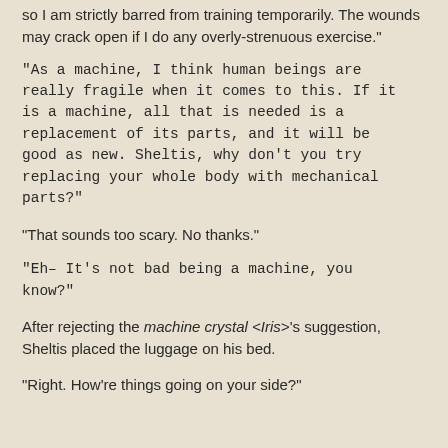so I am strictly barred from training temporarily. The wounds may crack open if I do any overly-strenuous exercise."
"As a machine, I think human beings are really fragile when it comes to this. If it is a machine, all that is needed is a replacement of its parts, and it will be good as new. Sheltis, why don't you try replacing your whole body with mechanical parts?"
"That sounds too scary. No thanks."
"Eh– It's not bad being a machine, you know?"
After rejecting the machine crystal <Iris>'s suggestion, Sheltis placed the luggage on his bed.
"Right. How're things going on your side?"